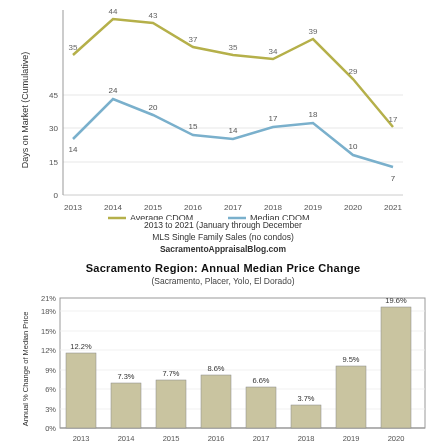[Figure (line-chart): Average CDOM vs Median CDOM]
2013 to 2021 (January through December
MLS Single Family Sales (no condos)
SacramentoAppraisalBlog.com
Sacramento Region: Annual Median Price Change
(Sacramento, Placer, Yolo, El Dorado)
[Figure (bar-chart): Sacramento Region: Annual Median Price Change]